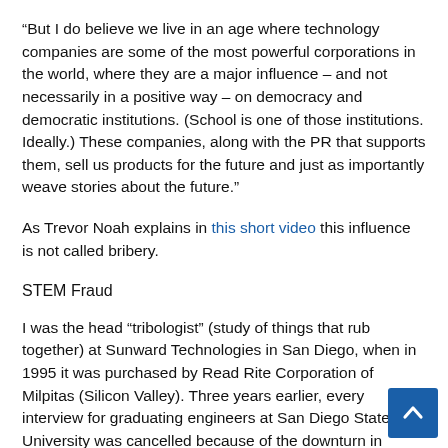“But I do believe we live in an age where technology companies are some of the most powerful corporations in the world, where they are a major influence – and not necessarily in a positive way – on democracy and democratic institutions. (School is one of those institutions. Ideally.) These companies, along with the PR that supports them, sell us products for the future and just as importantly weave stories about the future.”
As Trevor Noah explains in this short video this influence is not called bribery.
STEM Fraud
I was the head “tribologist” (study of things that rub together) at Sunward Technologies in San Diego, when in 1995 it was purchased by Read Rite Corporation of Milpitas (Silicon Valley). Three years earlier, every interview for graduating engineers at San Diego State University was cancelled because of the downturn in demand. In 1993, our personnel department screened more than 100 resumes before I was asked to